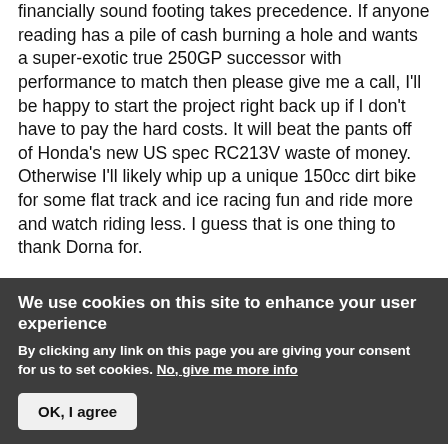financially sound footing takes precedence. If anyone reading has a pile of cash burning a hole and wants a super-exotic true 250GP successor with performance to match then please give me a call, I'll be happy to start the project right back up if I don't have to pay the hard costs. It will beat the pants off of Honda's new US spec RC213V waste of money. Otherwise I'll likely whip up a unique 150cc dirt bike for some flat track and ice racing fun and ride more and watch riding less. I guess that is one thing to thank Dorna for.
We use cookies on this site to enhance your user experience
By clicking any link on this page you are giving your consent for us to set cookies. No, give me more info
OK, I agree